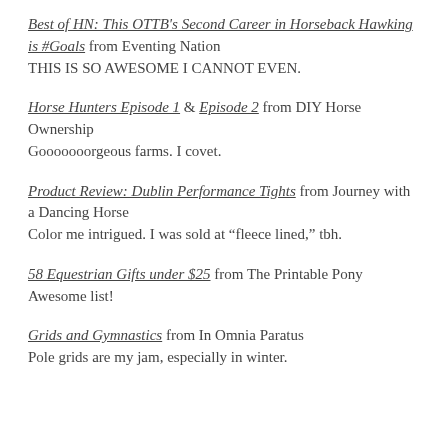Best of HN: This OTTB's Second Career in Horseback Hawking is #Goals from Eventing Nation
THIS IS SO AWESOME I CANNOT EVEN.
Horse Hunters Episode 1 & Episode 2 from DIY Horse Ownership
Gooooooorgeous farms. I covet.
Product Review: Dublin Performance Tights from Journey with a Dancing Horse
Color me intrigued. I was sold at "fleece lined," tbh.
58 Equestrian Gifts under $25 from The Printable Pony
Awesome list!
Grids and Gymnastics from In Omnia Paratus
Pole grids are my jam, especially in winter.